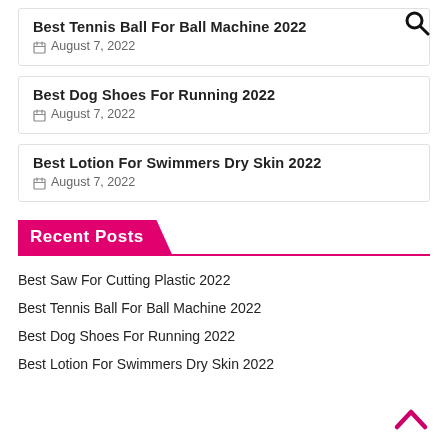[Figure (other): Search magnifying glass icon in top right corner]
Best Tennis Ball For Ball Machine 2022
August 7, 2022
Best Dog Shoes For Running 2022
August 7, 2022
Best Lotion For Swimmers Dry Skin 2022
August 7, 2022
Recent Posts
Best Saw For Cutting Plastic 2022
Best Tennis Ball For Ball Machine 2022
Best Dog Shoes For Running 2022
Best Lotion For Swimmers Dry Skin 2022
[Figure (other): Chevron up arrow in bottom right corner]